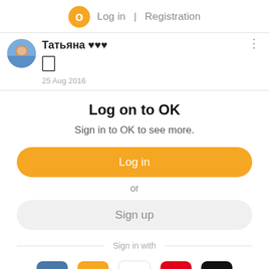Log in | Registration
Татьяна ♥♥♥
25 Aug 2016
Log on to OK
Sign in to OK to see more.
Log in
or
Sign up
Sign in with
[Figure (screenshot): Social login icons: VK (blue), Mail.ru (orange @), Google (G), Yandex (red Я), Apple (black apple)]